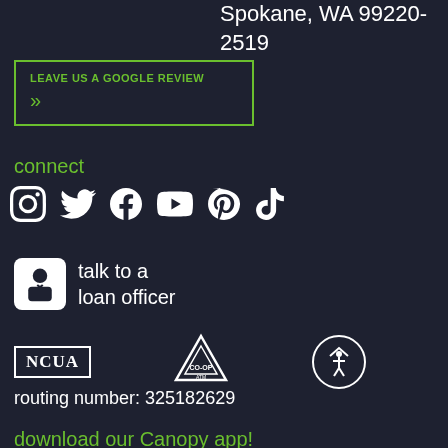Spokane, WA 99220-2519
LEAVE US A GOOGLE REVIEW >>
connect
[Figure (infographic): Social media icons row: Instagram, Twitter, Facebook, YouTube, Pinterest, TikTok]
[Figure (infographic): Talk to a loan officer button with person icon]
[Figure (infographic): NCUA logo, CO-OP ATM logo, Accessibility icon]
routing number: 325182629
download our Canopy app!